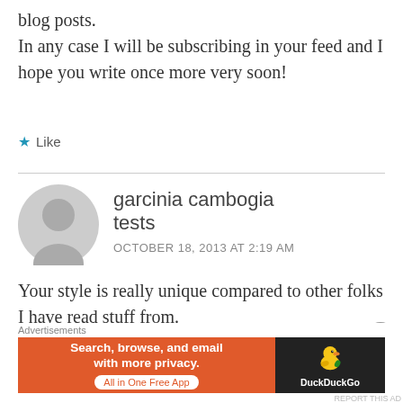blog posts.
In any case I will be subscribing in your feed and I hope you write once more very soon!
★ Like
garcinia cambogia tests
OCTOBER 18, 2013 AT 2:19 AM
Your style is really unique compared to other folks I have read stuff from.
[Figure (illustration): DuckDuckGo advertisement banner: orange section with text 'Search, browse, and email with more privacy. All in One Free App' and dark section with DuckDuckGo duck logo and brand name]
Advertisements